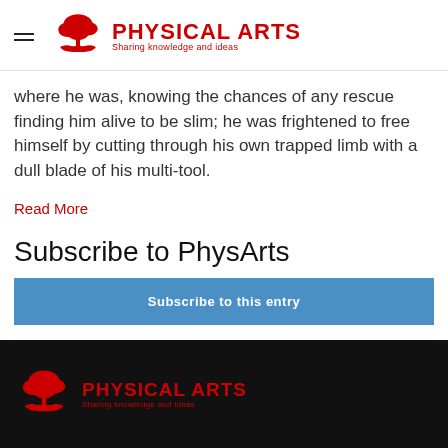PHYSICAL ARTS — Sharing knowledge and ideas
where he was, knowing the chances of any rescue finding him alive to be slim; he was frightened to free himself by cutting through his own trapped limb with a dull blade of his multi-tool.
Read More
Subscribe to PhysArts
Subscribe to this entry
PHYSICAL ARTS — Sharing knowledge and ideas